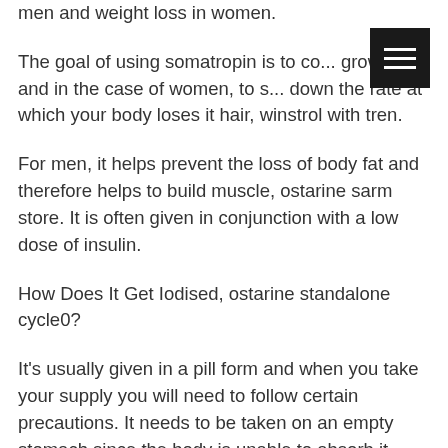men and weight loss in women.
The goal of using somatropin is to co... growth and in the case of women, to s... down the rate at which your body loses it hair, winstrol with tren.
For men, it helps prevent the loss of body fat and therefore helps to build muscle, ostarine sarm store. It is often given in conjunction with a low dose of insulin.
How Does It Get Iodised, ostarine standalone cycle0?
It's usually given in a pill form and when you take your supply you will need to follow certain precautions. It needs to be taken on an empty stomach since the body is unable to absorb it, sarm ostarine kaps 180 mk-2866. It needs to be taken within 5 hours of waking, or as soon as you wake in the